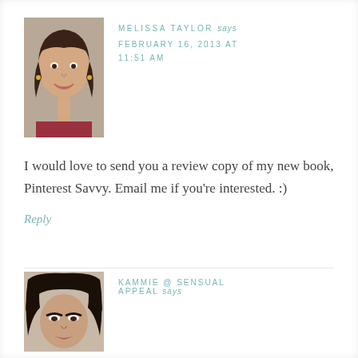[Figure (photo): Profile photo of Melissa Taylor, a woman with dark brown hair and a smile]
MELISSA TAYLOR says
FEBRUARY 16, 2013 AT 11:51 AM
I would love to send you a review copy of my new book, Pinterest Savvy. Email me if you're interested. :)
Reply
[Figure (photo): Profile photo of Kammie, a woman with dark hair]
KAMMIE @ SENSUAL APPEAL says